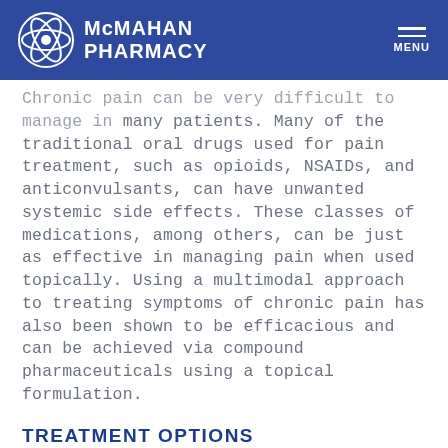McMahan Pharmacy
Chronic pain can be very difficult to manage in many patients. Many of the traditional oral drugs used for pain treatment, such as opioids, NSAIDs, and anticonvulsants, can have unwanted systemic side effects. These classes of medications, among others, can be just as effective in managing pain when used topically. Using a multimodal approach to treating symptoms of chronic pain has also been shown to be efficacious and can be achieved via compound pharmaceuticals using a topical formulation.
TREATMENT OPTIONS
Classes of medications that can be used